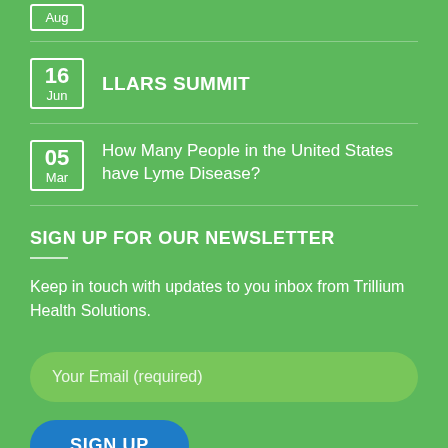Aug (partial date box visible at top)
16 Jun — LLARS SUMMIT
05 Mar — How Many People in the United States have Lyme Disease?
SIGN UP FOR OUR NEWSLETTER
Keep in touch with updates to you inbox from Trillium Health Solutions.
Your Email (required)
SIGN UP